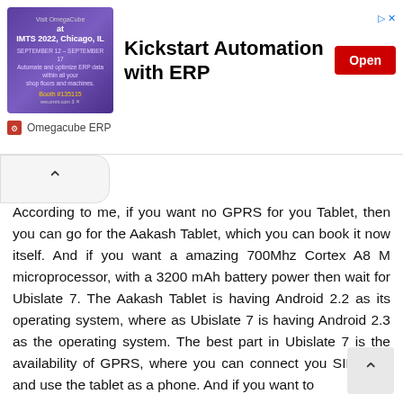[Figure (other): Advertisement banner for Omegacube ERP: 'Kickstart Automation with ERP' with an Open button and Omegacube ERP branding, showing a purple image with IMTS 2022 event details]
According to me, if you want no GPRS for you Tablet, then you can go for the Aakash Tablet, which you can book it now itself. And if you want a amazing 700Mhz Cortex A8 M microprocessor, with a 3200 mAh battery power then wait for Ubislate 7. The Aakash Tablet is having Android 2.2 as its operating system, where as Ubislate 7 is having Android 2.3 as the operating system. The best part in Ubislate 7 is the availability of GPRS, where you can connect you SIM card and use the tablet as a phone. And if you want to
Order your Aakash Tablet now, Click here : Book Aakash Tablet – Student Version for Rs: 2,500